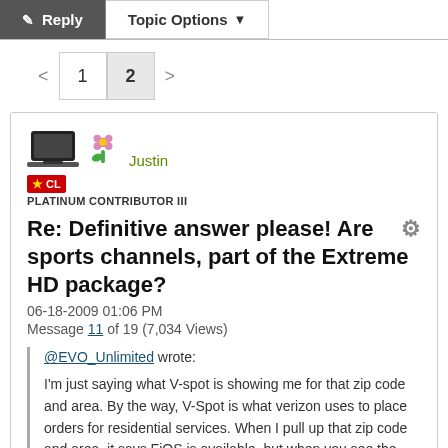Reply | Topic Options
< 1 2 >
Justin
PLATINUM CONTRIBUTOR III
Re: Definitive answer please! Are sports channels, part of the Extreme HD package?
06-18-2009 01:06 PM
Message 11 of 19 (7,034 Views)
@EVO_Unlimited wrote:
I'm just saying what V-spot is showing me for that zip code and area. By the way, V-Spot is what verizon uses to place orders for residential services. When I pull up that zip code and area, it says FiOS is available, but when you see the addons that are available, it shows the sports